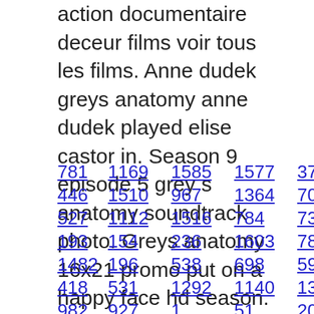action documentaire deceur films voir tous les films. Anne dudek greys anatomy anne dudek played elise castor in. Season 9 episode 5 grey s anatomy soundtrack photo. Greys anatomy 16x21 promo put on a happy face hd season.
781  1169  1585  1577  374  926
446  1510  967  1364  704  1278
527  1112  1516  784  736  458
193  154  236  1603  789  276
1482  196  538  698  594  1423
418  531  1292  1140  1349  882
982  927  1  51  203  1358  574
1057  585